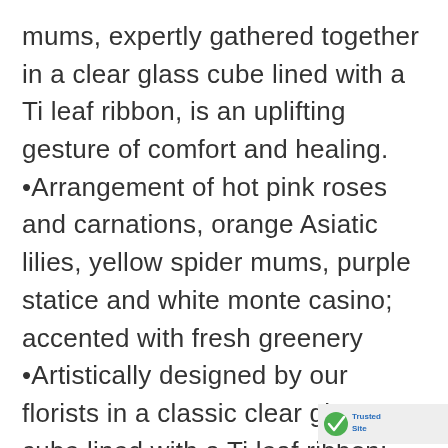mums, expertly gathered together in a clear glass cube lined with a Ti leaf ribbon, is an uplifting gesture of comfort and healing. •Arrangement of hot pink roses and carnations, orange Asiatic lilies, yellow spider mums, purple statice and white monte casino; accented with fresh greenery •Artistically designed by our florists in a classic clear glass cube lined with a Ti leaf ribbon; vase measures 5"H x 5"D •Large arrangement measures approximately 11"H x 11"L •Medium arrangement measures approximately 10"H x 10"L •Small arrangement does not include roses and measures approximately 9"H x 9" •Perfect c
[Figure (logo): TrustedSite badge with green checkmark icon and text 'TrustedSite']